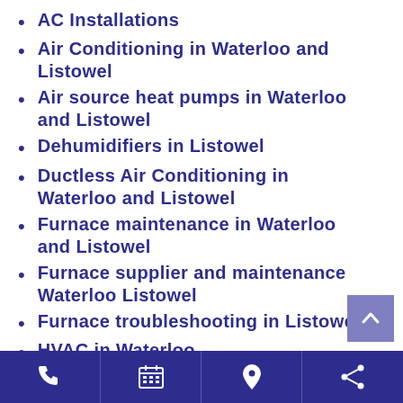AC Installations
Air Conditioning in Waterloo and Listowel
Air source heat pumps in Waterloo and Listowel
Dehumidifiers in Listowel
Ductless Air Conditioning in Waterloo and Listowel
Furnace maintenance in Waterloo and Listowel
Furnace supplier and maintenance Waterloo Listowel
Furnace troubleshooting in Listowel
HVAC in Waterloo
Indoor Air Quality Testing Waterloo and